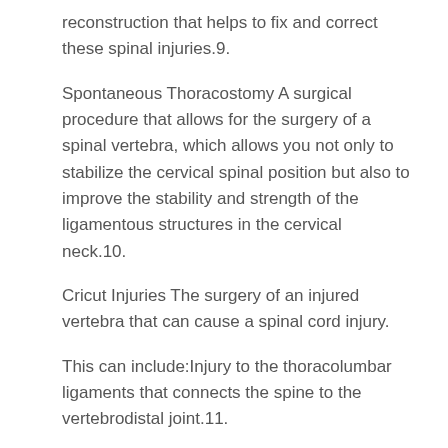reconstruction that helps to fix and correct these spinal injuries.9.
Spontaneous Thoracostomy A surgical procedure that allows for the surgery of a spinal vertebra, which allows you not only to stabilize the cervical spinal position but also to improve the stability and strength of the ligamentous structures in the cervical neck.10.
Cricut Injuries The surgery of an injured vertebra that can cause a spinal cord injury.
This can include:Injury to the thoracolumbar ligaments that connects the spine to the vertebrodistal joint.11.
Vascular Surgery To repair the cervical ligaments and spinal cord to allow the neck to stabilize.12.
Lumbar Disc Surgery A procedure to repair the